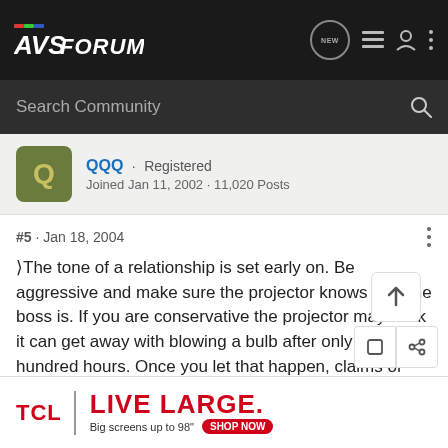AVS Forum
Search Community
QQQ · Registered
Joined Jan 11, 2002 · 11,020 Posts
#5 · Jan 18, 2004
‹The tone of a relationship is set early on. Be aggressive and make sure the projector knows who the boss is. If you are conservative the projector may think it can get away with blowing a bulb after only a few hundred hours. Once you let that happen, claims of headaches are sure to follow whenever the projector doesn't feel like projecting.
TCL | LIVE LARGE. Big screens up to 98" SHOP NOW